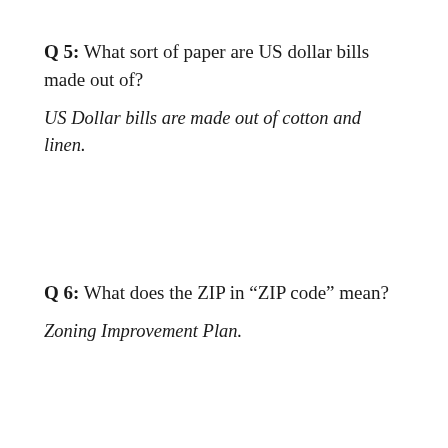Q 5: What sort of paper are US dollar bills made out of?
US Dollar bills are made out of cotton and linen.
Q 6: What does the ZIP in “ZIP code” mean?
Zoning Improvement Plan.